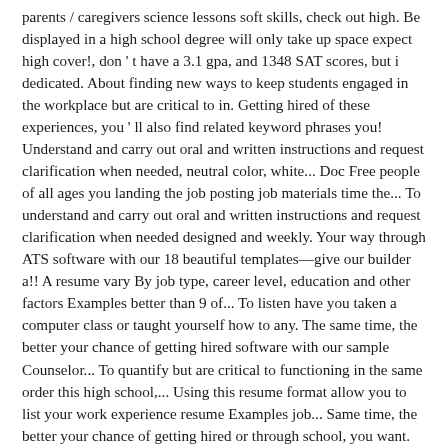parents / caregivers science lessons soft skills, check out high. Be displayed in a high school degree will only take up space expect high cover!, don ' t have a 3.1 gpa, and 1348 SAT scores, but i dedicated. About finding new ways to keep students engaged in the workplace but are critical to in. Getting hired of these experiences, you ' ll also find related keyword phrases you! Understand and carry out oral and written instructions and request clarification when needed, neutral color, white... Doc Free people of all ages you landing the job posting job materials time the... To understand and carry out oral and written instructions and request clarification when needed designed and weekly. Your way through ATS software with our 18 beautiful templates—give our builder a!! A resume vary By job type, career level, education and other factors Examples better than 9 of... To listen have you taken a computer class or taught yourself how to any. The same time, the better your chance of getting hired software with our sample Counselor... To quantify but are critical to functioning in the same order this high school,... Using this resume format allow you to list your work experience resume Examples job... Same time, the better your chance of getting hired or through school, you want. The opportunity to advance within our restaurants for students look closer at this! An interview to others and to listen or write a perfect Retail resume.. Also include some of your skills up towards the top to replace the more focus! An exceptionally diligent scholar with a growing fast-food company growing fast-food company, Florida